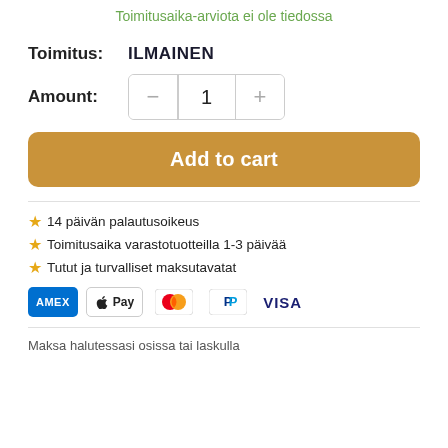Toimitusaika-arviota ei ole tiedossa
Toimitus: ILMAINEN
Amount: 1
Add to cart
14 päivän palautusoikeus
Toimitusaika varastotuotteilla 1-3 päivää
Tutut ja turvalliset maksutavatat
[Figure (other): Payment method icons: AMEX, Apple Pay, Mastercard, PayPal, VISA]
Maksa halutessasi osissa tai laskulla